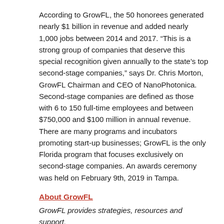According to GrowFL, the 50 honorees generated nearly $1 billion in revenue and added nearly 1,000 jobs between 2014 and 2017. “This is a strong group of companies that deserve this special recognition given annually to the state’s top second-stage companies,” says Dr. Chris Morton, GrowFL Chairman and CEO of NanoPhotonica. Second-stage companies are defined as those with 6 to 150 full-time employees and between $750,000 and $100 million in annual revenue. There are many programs and incubators promoting start-up businesses; GrowFL is the only Florida program that focuses exclusively on second-stage companies. An awards ceremony was held on February 9th, 2019 in Tampa.
About GrowFL
GrowFL provides strategies, resources and support,